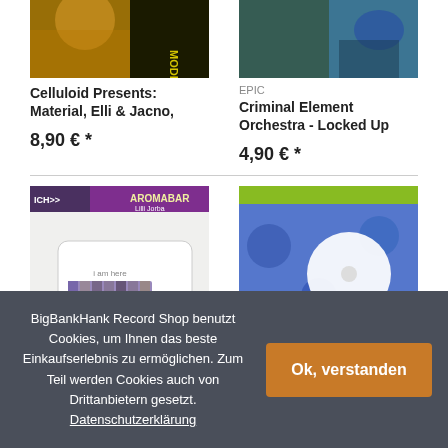[Figure (photo): Album cover for Celluloid Presents: Material, Elli & Jacno — partial top portion visible, yellow/dark tones]
[Figure (photo): Album cover for Criminal Element Orchestra - Locked Up — partial top portion visible, teal/blue bird tones]
Celluloid Presents: Material, Elli & Jacno,
Criminal Element Orchestra - Locked Up
EPIC
8,90 € *
4,90 € *
[Figure (photo): Album cover 'I am here' — AROMABAR label, Lilli Jorba, white background with small photographic strips]
[Figure (photo): Album cover — blue floral pattern with white circle/disc and yellow-green square, text partially visible]
BigBankHank Record Shop benutzt Cookies, um Ihnen das beste Einkaufserlebnis zu ermöglichen. Zum Teil werden Cookies auch von Drittanbietern gesetzt. Datenschutzerklärung
Ok, verstanden